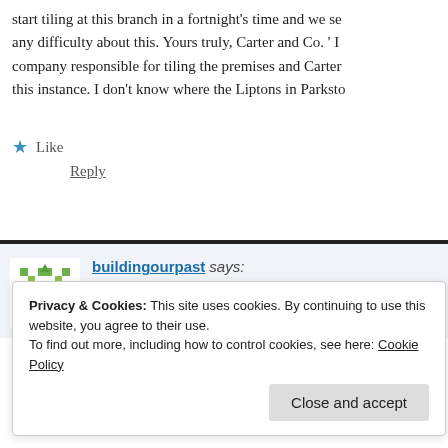start tiling at this branch in a fortnight's time and we se any difficulty about this. Yours truly, Carter and Co. ' I company responsible for tiling the premises and Carter this instance. I don't know where the Liptons in Parksto
★ Like
Reply
buildingourpast says: February 24, 2021 at 10:56 pm
That's lovely, thanks!
Privacy & Cookies: This site uses cookies. By continuing to use this website, you agree to their use. To find out more, including how to control cookies, see here: Cookie Policy